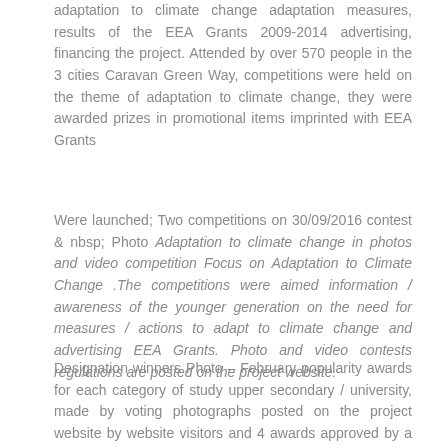adaptation to climate change adaptation measures, results of the EEA Grants 2009-2014 advertising, financing the project. Attended by over 570 people in the 3 cities Caravan Green Way, competitions were held on the theme of adaptation to climate change, they were awarded prizes in promotional items imprinted with EEA Grants
Were launched; Two competitions on 30/09/2016 contest & nbsp; Photo Adaptation to climate change in photos and video competition Focus on Adaptation to Climate Change .The competitions were aimed information / awareness of the younger generation on the need for measures / actions to adapt to climate change and advertising EEA Grants. Photo and video contests regulations are posted on the project website.
Designation winners Photo – February popularity awards for each category of study upper secondary / university, made by voting photographs posted on the project website by website visitors and 4 awards approved by a vote of three members the project team. Section polling and photos